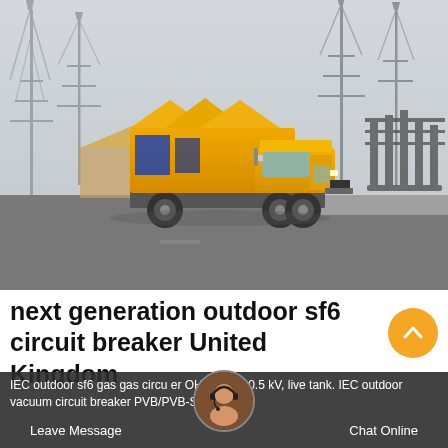[Figure (photo): Photograph of a yellow utility/maintenance truck parked at an electrical substation with high-voltage transmission towers and equipment in the background. The truck has an orange-yellow cab and a special equipment body with peaked roof panels. The scene is overcast with grey sky.]
next generation outdoor sf6 circuit breaker United Kingdom
IEC outdoor sf6 gas gas circuit breaker OHB. 24 - 40.5 kV, live tank. IEC outdoor vacuum circuit breaker PVB/PVB-S. 12 kV,